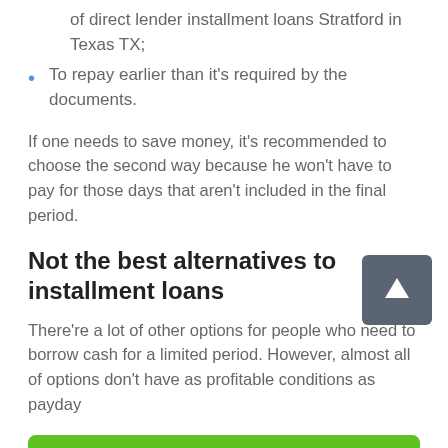of direct lender installment loans Stratford in Texas TX;
To repay earlier than it's required by the documents.
If one needs to save money, it's recommended to choose the second way because he won't have to pay for those days that aren't included in the final period.
Not the best alternatives to installment loans
There're a lot of other options for people who need to borrow cash for a limited period. However, almost all options don't have as profitable conditions as payday
Apply Now
Applying does NOT affect your credit score!
No credit check to apply.